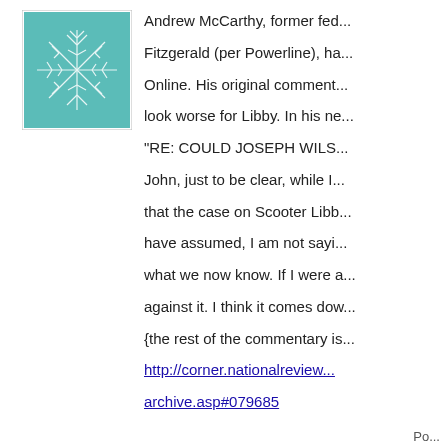[Figure (illustration): Teal/turquoise fractal-like geometric avatar icon]
Andrew McCarthy, former fed... Fitzgerald (per Powerline), ha... Online. His original comment... look worse for Libby. In his ne...
"RE: COULD JOSEPH WILS... John, just to be clear, while I... that the case on Scooter Libb... have assumed, I am not sayi... what we now know. If I were a... against it. I think it comes dow...
{the rest of the commentary is...
http://corner.nationalreview... archive.asp#079685
Po...
[Figure (illustration): Green geometric/cellular pattern avatar icon]
Why mention Plame?
Any body here ever hear of m...
It is one way to discredit peop...